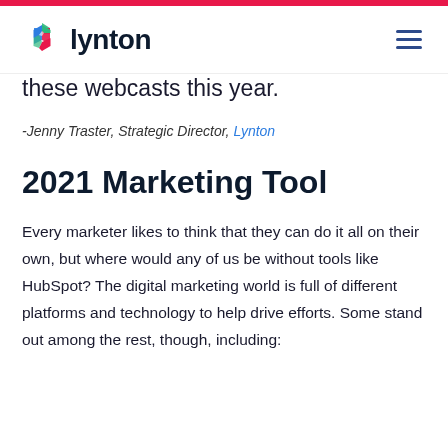lynton
these webcasts this year.
-Jenny Traster, Strategic Director, Lynton
2021 Marketing Tool
Every marketer likes to think that they can do it all on their own, but where would any of us be without tools like HubSpot? The digital marketing world is full of different platforms and technology to help drive efforts. Some stand out among the rest, though, including: